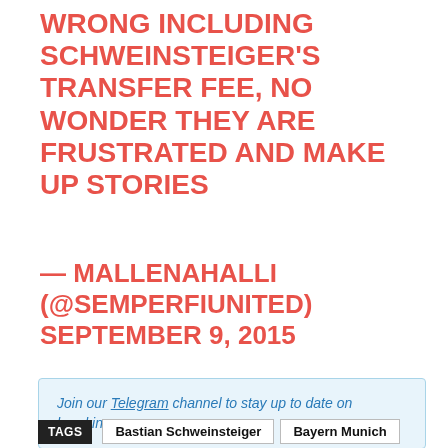WRONG INCLUDING SCHWEINSTEIGER'S TRANSFER FEE, NO WONDER THEY ARE FRUSTRATED AND MAKE UP STORIES
— MALLENAHALLI (@SEMPERFIUNITED) SEPTEMBER 9, 2015
Join our Telegram channel to stay up to date on breaking news coverage
TAGS  Bastian Schweinsteiger  Bayern Munich